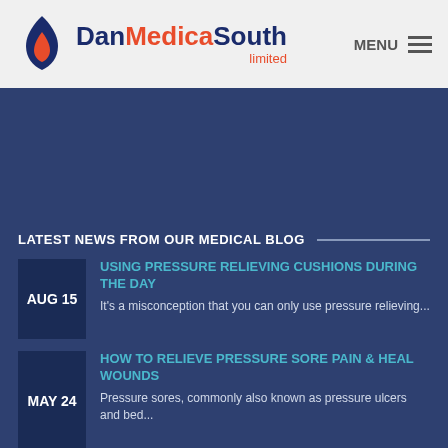[Figure (logo): DanMedicaSouth Limited logo with flame icon in navy and red]
LATEST NEWS FROM OUR MEDICAL BLOG
AUG 15 — USING PRESSURE RELIEVING CUSHIONS DURING THE DAY — It's a misconception that you can only use pressure relieving...
MAY 24 — HOW TO RELIEVE PRESSURE SORE PAIN & HEAL WOUNDS — Pressure sores, commonly also known as pressure ulcers and bed...
SEP 21 — VISIT US AT THE NAEP CONFERENCE 9TH & 10TH NOV 2021 — We will be attending the National Association of